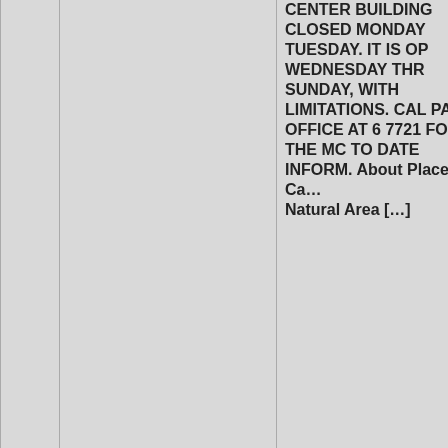| # | Name | Description |
| --- | --- | --- |
|  |  | CENTER BUILDING CLOSED MONDAY TUESDAY. IT IS OPEN WEDNESDAY THROUGH SUNDAY, WITH LIMITATIONS. CALL PARK OFFICE AT 6 7721 FOR THE MOST TO DATE INFORMATION. About Placerita Canyon Natural Area [...] |
| 256 | Playland-Not-At-The-Beach - Museum of Fun - Pinball and Magic Fun | Playland Not At The Beach is a not-for-profit family center in the East Bay, now open. |
| 257 | Point Reyes National Seashore (U.S. National Park Service) | Point Reyes National Seashore Home Pa... |
| 258 | Poly Canyon - College of Architecture & Environmental Design - Cal Poly, San Luis Obispo | Poly Canyon is located adjacent to the main Cal Poly campus. A portion of Poly Canyon encompasses a nine-acre outdoor experimental construction laboratory that fo... |